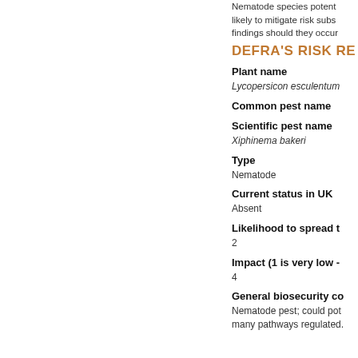Nematode species potentially likely to mitigate risk substantially findings should they occur
DEFRA'S RISK RE
Plant name
Lycopersicon esculentum
Common pest name
Scientific pest name
Xiphinema bakeri
Type
Nematode
Current status in UK
Absent
Likelihood to spread t
2
Impact (1 is very low -
4
General biosecurity co
Nematode pest; could potentially many pathways regulated.